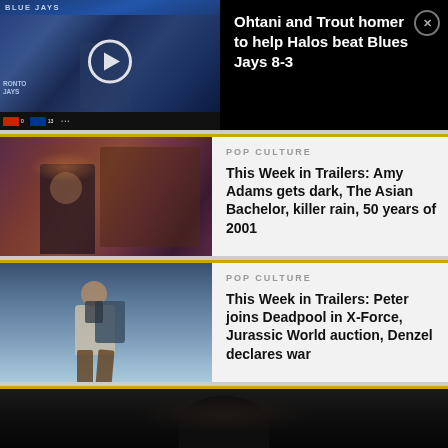[Figure (screenshot): Video thumbnail of baseball game (Blue Jays) with play button overlay and scorebar]
Ohtani and Trout homer to help Halos beat Blues Jays 8-3
[Figure (photo): Woman in dark sweater standing in doorway, moody lighting]
POP CULTURE
This Week in Trailers: Amy Adams gets dark, The Asian Bachelor, killer rain, 50 years of 2001
[Figure (photo): Man in spacesuit or jumpsuit with backpack, jumping against blue sky]
POP CULTURE
This Week in Trailers: Peter joins Deadpool in X-Force, Jurassic World auction, Denzel declares war
[Figure (photo): Dark partial image at bottom of page, person in shadow]